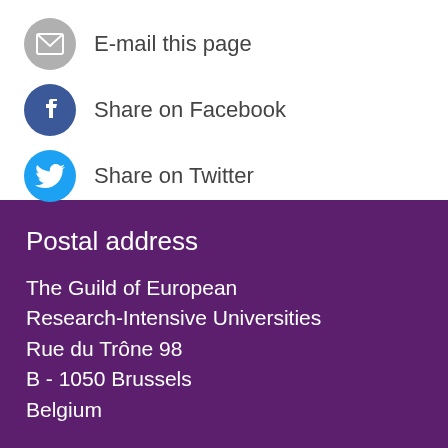E-mail this page
Share on Facebook
Share on Twitter
Postal address
The Guild of European
Research-Intensive Universities
Rue du Trône 98
B - 1050 Brussels
Belgium